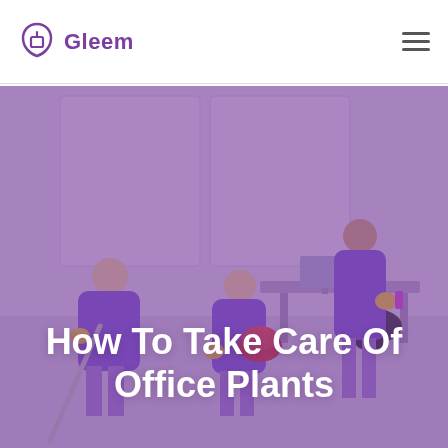Gleem
[Figure (photo): Hero image of office cleaning staff in purple aprons cleaning an office space, with a purple overlay. Large white bold title text reads 'How To Take Care Of Office Plants'.]
How To Take Care Of Office Plants